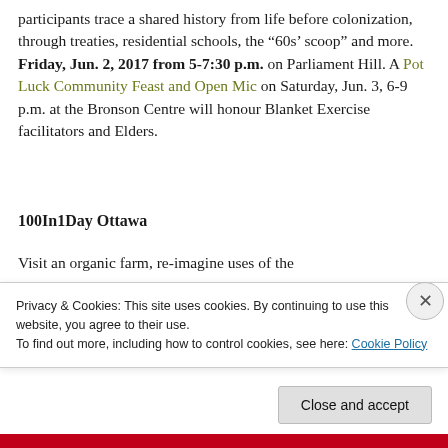participants trace a shared history from life before colonization, through treaties, residential schools, the ‘60s’ scoop” and more. Friday, Jun. 2, 2017 from 5-7:30 p.m. on Parliament Hill. A Pot Luck Community Feast and Open Mic on Saturday, Jun. 3, 6-9 p.m. at the Bronson Centre will honour Blanket Exercise facilitators and Elders.
100In1Day Ottawa
Visit an organic farm, re-imagine uses of the
Privacy & Cookies: This site uses cookies. By continuing to use this website, you agree to their use.
To find out more, including how to control cookies, see here: Cookie Policy